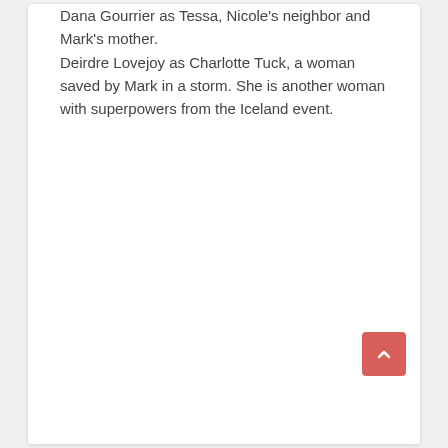Dana Gourrier as Tessa, Nicole's neighbor and Mark's mother.
Deirdre Lovejoy as Charlotte Tuck, a woman saved by Mark in a storm. She is another woman with superpowers from the Iceland event.